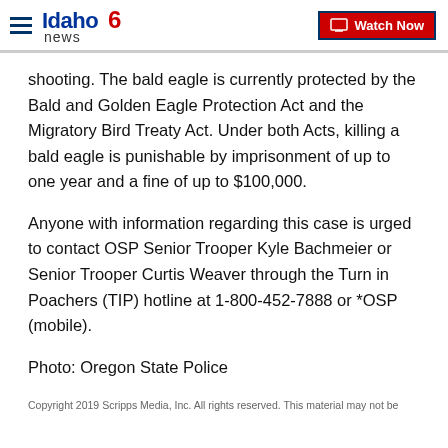Idaho News 6 | Watch Now
shooting. The bald eagle is currently protected by the Bald and Golden Eagle Protection Act and the Migratory Bird Treaty Act. Under both Acts, killing a bald eagle is punishable by imprisonment of up to one year and a fine of up to $100,000.
Anyone with information regarding this case is urged to contact OSP Senior Trooper Kyle Bachmeier or Senior Trooper Curtis Weaver through the Turn in Poachers (TIP) hotline at 1-800-452-7888 or *OSP (mobile).
Photo: Oregon State Police
Copyright 2019 Scripps Media, Inc. All rights reserved. This material may not be